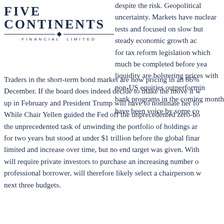[Figure (logo): Five Continents Financial Limited logo with company name in large serif uppercase letters and tagline below a decorative divider with diamond]
despite the risk. Geopolitical uncertainty. Markets have nuclear tests and focused on slow but steady economic growth as for tax reform legislation which much be completed before year liquidity are bolstering prices with non-US equities outperformin bank programs in the coming month have been voice by some co
Traders in the short-term bond market are now pricing in an 86% December. If the board does indeed decide to make the move it w up in February and President Trump will have to nominate her fo While Chair Yellen guided the Fed off the unprecedented zero-bo the unprecedented task of unwinding the portfolio of holdings ar for two years but stood at under $1 trillion before the global finar limited and increase over time, but no end target was given. With will require private investors to purchase an increasing number o professional borrower, will therefore likely select a chairperson w next three budgets.